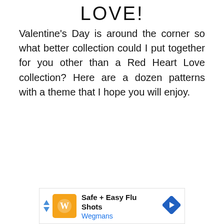LOVE!
Valentine's Day is around the corner so what better collection could I put together for you other than a Red Heart Love collection? Here are a dozen patterns with a theme that I hope you will enjoy.
[Figure (other): Advertisement banner for Wegmans Safe + Easy Flu Shots with orange logo icon, navigation arrow icon, and blue Wegmans text link]